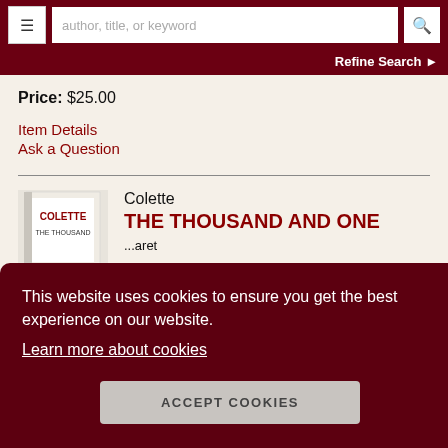author, title, or keyword | Refine Search
Price: $25.00
Item Details
Ask a Question
Colette
THE THOUSAND AND ONE
...aret an Pp. ; ners wrapper, edges lightly rubbed and split, the front...
This website uses cookies to ensure you get the best experience on our website.
Learn more about cookies
ACCEPT COOKIES